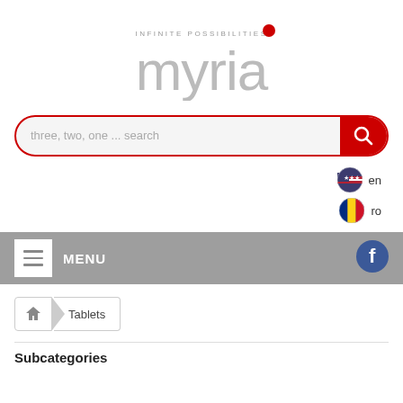[Figure (logo): Myria logo with tagline INFINITE POSSIBILITIES and stylized myria text in grey with red dot]
three, two, one ... search
[Figure (infographic): Language selector with US flag (en) and Romanian flag (ro)]
MENU
[Figure (infographic): Facebook icon button in blue circle]
[Figure (infographic): Breadcrumb navigation: home icon > Tablets]
Subcategories